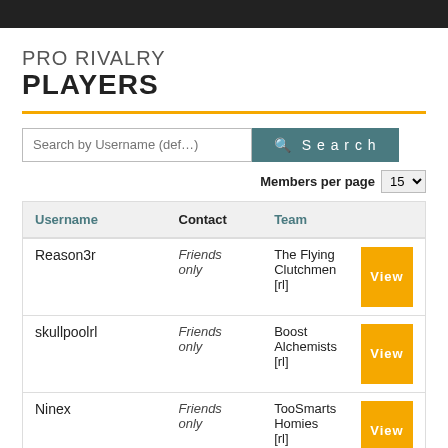PRO RIVALRY PLAYERS
| Username | Contact | Team |  |
| --- | --- | --- | --- |
| Reason3r | Friends only | The Flying Clutchmen [rl] | View |
| skullpoolrl | Friends only | Boost Alchemists [rl] | View |
| Ninex | Friends only | TooSmarts Homies [rl] | View |